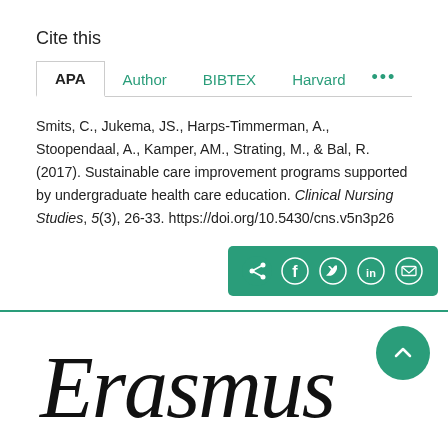Cite this
APA  Author  BIBTEX  Harvard  ...
Smits, C., Jukema, JS., Harps-Timmerman, A., Stoopendaal, A., Kamper, AM., Strating, M., & Bal, R. (2017). Sustainable care improvement programs supported by undergraduate health care education. Clinical Nursing Studies, 5(3), 26-33. https://doi.org/10.5430/cns.v5n3p26
[Figure (other): Social sharing bar with share, Facebook, Twitter, LinkedIn, and email icons on a teal background]
[Figure (logo): Erasmus University cursive signature logo in dark ink at bottom of page, with a teal back-to-top circular arrow button]